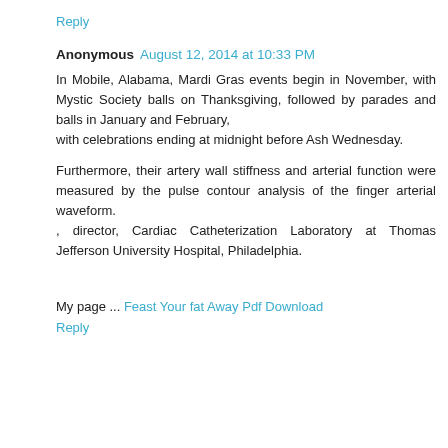Reply
Anonymous  August 12, 2014 at 10:33 PM
In Mobile, Alabama, Mardi Gras events begin in November, with Mystic Society balls on Thanksgiving, followed by parades and balls in January and February, with celebrations ending at midnight before Ash Wednesday.
Furthermore, their artery wall stiffness and arterial function were measured by the pulse contour analysis of the finger arterial waveform. , director, Cardiac Catheterization Laboratory at Thomas Jefferson University Hospital, Philadelphia.
My page ... Feast Your fat Away Pdf Download
Reply